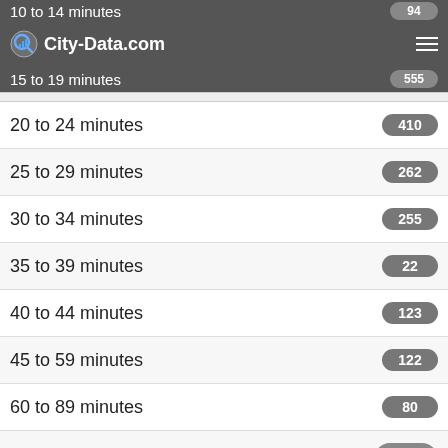10 to 14 minutes
City-Data.com
15 to 19 minutes
20 to 24 minutes
25 to 29 minutes
30 to 34 minutes
35 to 39 minutes
40 to 44 minutes
45 to 59 minutes
60 to 89 minutes
90 or more minutes
Percentage of zip code residents living and working in this